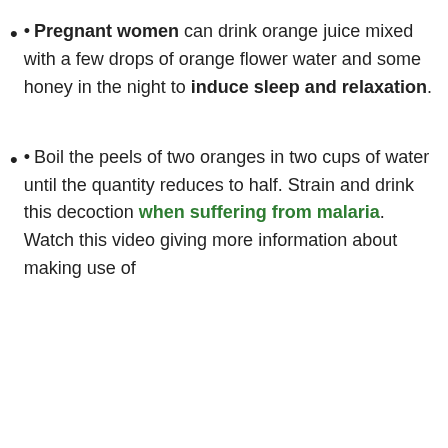• Pregnant women can drink orange juice mixed with a few drops of orange flower water and some honey in the night to induce sleep and relaxation.
• Boil the peels of two oranges in two cups of water until the quantity reduces to half. Strain and drink this decoction when suffering from malaria. Watch this video giving more information about making use of